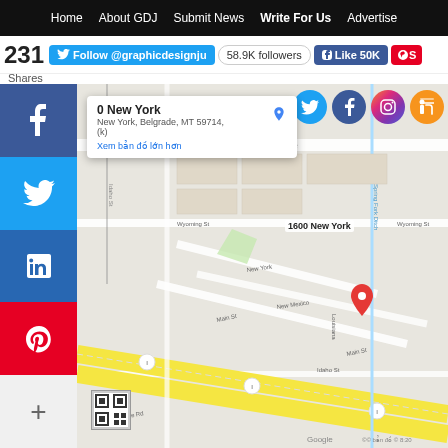Home  About GDJ  Submit News  Write For Us  Advertise
231 Shares | Follow @graphicdesignju | 58.9K followers | Like 50K
[Figure (map): Google Maps screenshot showing 1600 New York, Belgrade, MT 59714 with a red location pin labeled '1600 New York'. Map shows streets including Wyoming St, New Mexico, Main St, Idaho St, Yellowstone Ave, and a highway running diagonally. Social share buttons on the left (Facebook, Twitter, LinkedIn, Pinterest, More). Social media icons top right (Twitter, Facebook, Instagram, RSS feed). Small popup showing address info. QR code in bottom left.]
1600 New York, New York, Belgrade, MT 59714